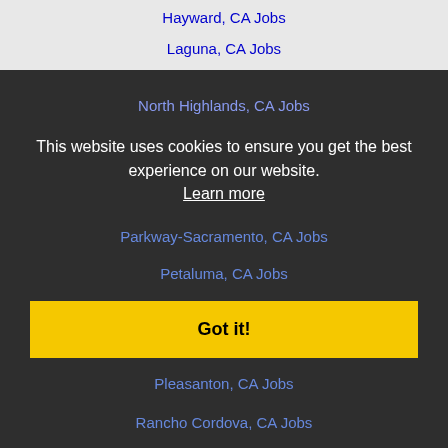Hayward, CA Jobs
Laguna, CA Jobs
Lincoln, CA Jobs
Livermore, CA Jobs
Lodi, CA Jobs
Manteca, CA Jobs
Milpitas, CA Jobs
Modesto, CA Jobs
Napa, CA Jobs
Newark, CA Jobs
North Highlands, CA Jobs
This website uses cookies to ensure you get the best experience on our website. Learn more
Parkway-Sacramento, CA Jobs
Petaluma, CA Jobs
Pittsburg, CA Jobs
Pleasanton, CA Jobs
Rancho Cordova, CA Jobs